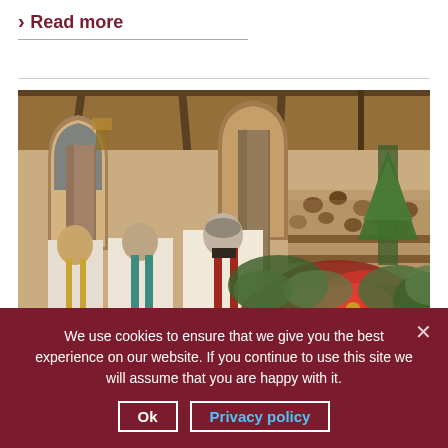> Read more
[Figure (photo): Interior of a church during a Christmas service. Clergy in white robes with blue and red stoles stand facing the altar. Red poinsettias and green foliage are arranged in the foreground. Gothic arched columns and wooden roof beams are visible, with a congregation seated in the background.]
We use cookies to ensure that we give you the best experience on our website. If you continue to use this site we will assume that you are happy with it.
Ok | Privacy policy